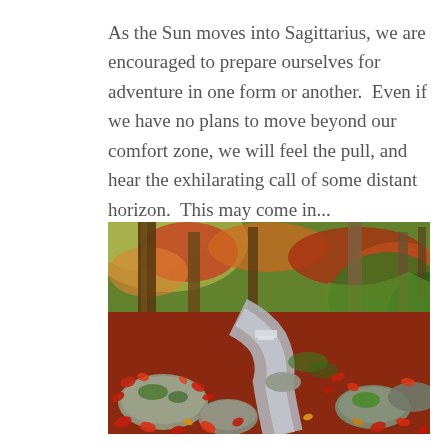As the Sun moves into Sagittarius, we are encouraged to prepare ourselves for adventure in one form or another.  Even if we have no plans to move beyond our comfort zone, we will feel the pull, and hear the exhilarating call of some distant horizon.  This may come in...
[Figure (photo): Autumn forest scene with a stream flowing over and around moss-covered rocks, surrounded by red and orange fallen leaves. Trees with autumn foliage and sunlight in the background. A small waterfall is visible upstream.]